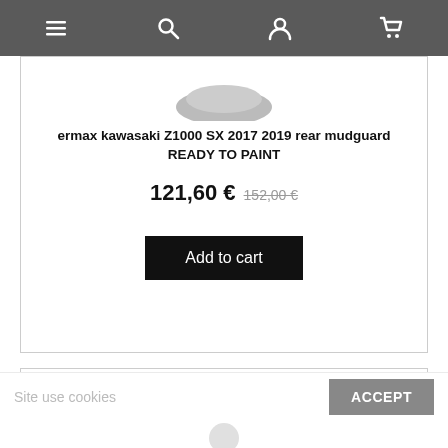Navigation bar with menu, search, user, and cart icons
[Figure (other): Partial product image at top of panel]
ermax kawasaki Z1000 SX 2017 2019 rear mudguard READY TO PAINT
121,60 € 152,00 €
Add to cart
[Figure (other): Second product panel with -20% discount badge]
Site use cookies
ACCEPT